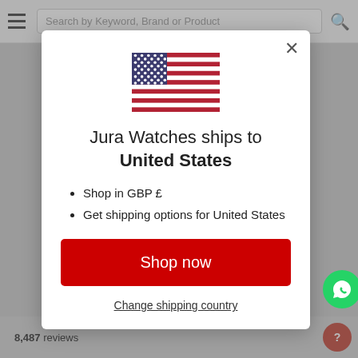[Figure (screenshot): Background website page with navigation bar, search field, hamburger menu, and bottom content area dimmed by modal overlay]
[Figure (illustration): United States flag]
Jura Watches ships to United States
Shop in GBP £
Get shipping options for United States
Shop now
Change shipping country
8,487 reviews